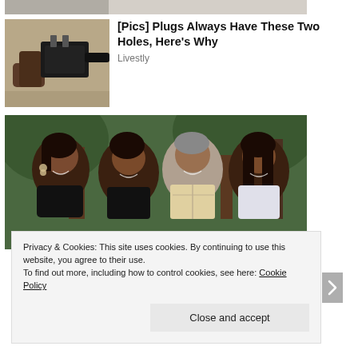[Figure (photo): Partial top strip of an image, cut off at top of page]
[Figure (photo): Close-up photo of an electrical plug held in someone's hand]
[Pics] Plugs Always Have These Two Holes, Here's Why
Livestly
[Figure (photo): Family photo of four people smiling outdoors among trees]
Privacy & Cookies: This site uses cookies. By continuing to use this website, you agree to their use.
To find out more, including how to control cookies, see here: Cookie Policy
Close and accept